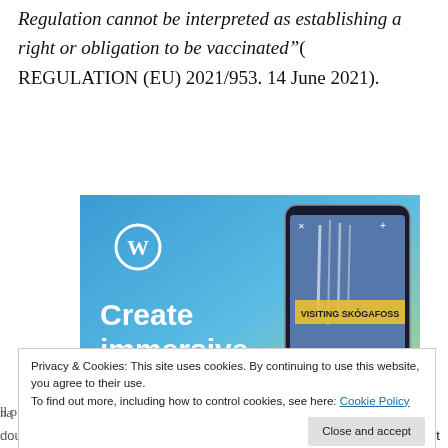Regulation cannot be interpreted as establishing a right or obligation to be vaccinated"( REGULATION (EU) 2021/953. 14 June 2021).
[Figure (screenshot): WordPress advertisement showing 'Create immersive stories.' with a smartphone displaying 'VISITING SKÓGAFOSS' on a blue-green gradient background with WordPress logo.]
Privacy & Cookies: This site uses cookies. By continuing to use this website, you agree to their use.
To find out more, including how to control cookies, see here: Cookie Policy
ll p
doubt, but very often you INFORMATIVA the most